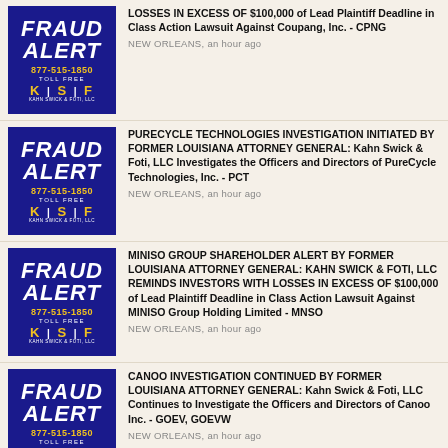[Figure (logo): Fraud Alert badge - KSF Kahn Swick & Foti, LLC logo with phone number 877-515-1850]
LOSSES IN EXCESS OF $100,000 of Lead Plaintiff Deadline in Class Action Lawsuit Against Coupang, Inc. - CPNG
NEW ORLEANS, an hour ago
[Figure (logo): Fraud Alert badge - KSF Kahn Swick & Foti, LLC logo with phone number 877-515-1850]
PURECYCLE TECHNOLOGIES INVESTIGATION INITIATED BY FORMER LOUISIANA ATTORNEY GENERAL: Kahn Swick & Foti, LLC Investigates the Officers and Directors of PureCycle Technologies, Inc. - PCT
NEW ORLEANS, an hour ago
[Figure (logo): Fraud Alert badge - KSF Kahn Swick & Foti, LLC logo with phone number 877-515-1850]
MINISO GROUP SHAREHOLDER ALERT BY FORMER LOUISIANA ATTORNEY GENERAL: KAHN SWICK & FOTI, LLC REMINDS INVESTORS WITH LOSSES IN EXCESS OF $100,000 of Lead Plaintiff Deadline in Class Action Lawsuit Against MINISO Group Holding Limited - MNSO
NEW ORLEANS, an hour ago
[Figure (logo): Fraud Alert badge - KSF Kahn Swick & Foti, LLC logo with phone number 877-515-1850]
CANOO INVESTIGATION CONTINUED BY FORMER LOUISIANA ATTORNEY GENERAL: Kahn Swick & Foti, LLC Continues to Investigate the Officers and Directors of Canoo Inc. - GOEV, GOEVW
NEW ORLEANS, an hour ago
[Figure (logo): Fraud Alert badge - KSF Kahn Swick & Foti, LLC logo with phone number 877-515-1850]
PHIBRO SHAREHOLDER ALERT BY FORMER LOUISIANA ATTORNEY...